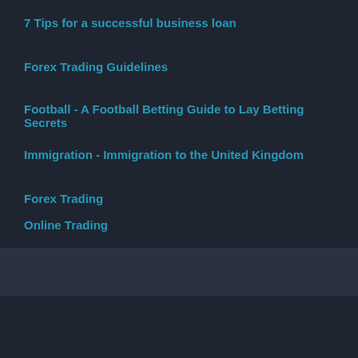7 Tips for a successful business loan
Forex Trading Guidelines
Football - A Football Betting Guide to Lay Betting Secrets
Immigration - Immigration to the United Kingdom
Forex Trading
Online Trading
Home
Earn Money
Business